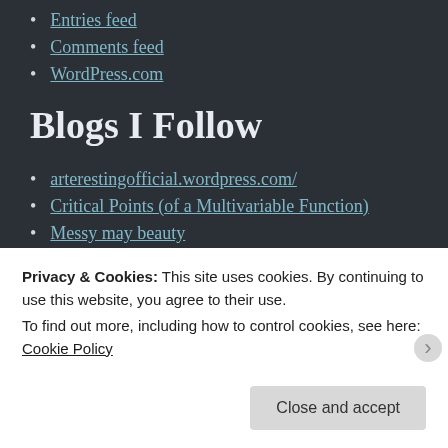Entries feed
Comments feed
WordPress.com
Blogs I Follow
arterestingofficial.wordpress.com/
Critical Points (of a Multivariable Function)
Messy may beauty
ma vie en rose
Site Title
GiftedAndChilling
Privacy & Cookies: This site uses cookies. By continuing to use this website, you agree to their use. To find out more, including how to control cookies, see here: Cookie Policy
Close and accept